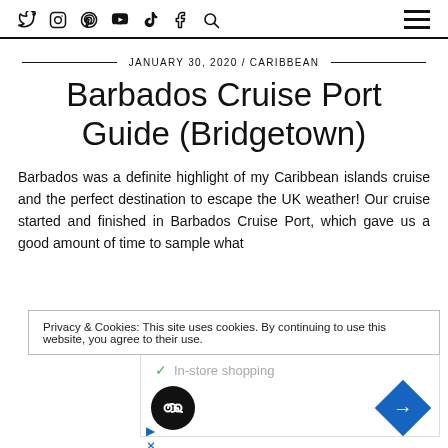Social media icons and hamburger menu navigation bar
JANUARY 30, 2020 / CARIBBEAN
Barbados Cruise Port Guide (Bridgetown)
Barbados was a definite highlight of my Caribbean islands cruise and the perfect destination to escape the UK weather! Our cruise started and finished in Barbados Cruise Port, which gave us a good amount of time to sample what
Privacy & Cookies: This site uses cookies. By continuing to use this website, you agree to their use.
[Figure (other): Advertisement overlay showing in-store shopping label with green checkmark, a circular black icon, a blue diamond-shaped navigation icon, and small ad control buttons]
To find out more including how to control cookies see here: Cookie Policy